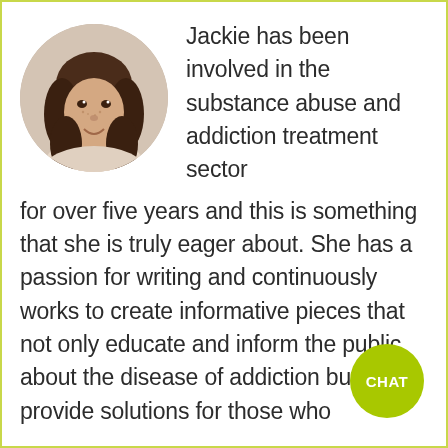[Figure (photo): Circular headshot photo of a young woman with long brown hair, smiling, against a light background.]
Jackie has been involved in the substance abuse and addiction treatment sector for over five years and this is something that she is truly eager about. She has a passion for writing and continuously works to create informative pieces that not only educate and inform the public about the disease of addiction but also provide solutions for those who